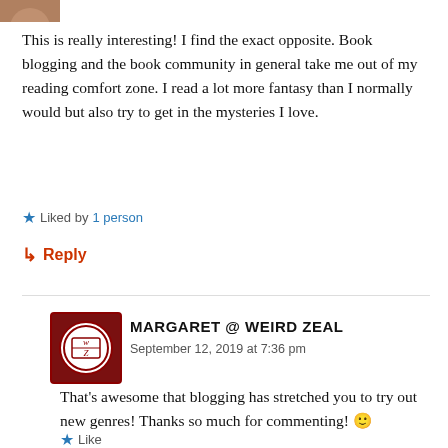[Figure (photo): Partial avatar image cropped at top of page]
This is really interesting! I find the exact opposite. Book blogging and the book community in general take me out of my reading comfort zone. I read a lot more fantasy than I normally would but also try to get in the mysteries I love.
★ Liked by 1 person
↳ Reply
MARGARET @ WEIRD ZEAL
September 12, 2019 at 7:36 pm
That's awesome that blogging has stretched you to try out new genres! Thanks so much for commenting! 🙂
★ Like